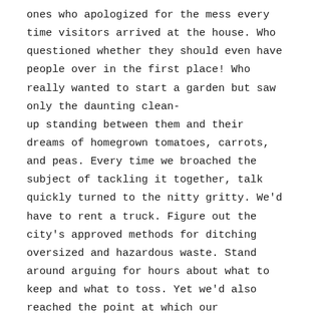ones who apologized for the mess every time visitors arrived at the house. Who questioned whether they should even have people over in the first place! Who really wanted to start a garden but saw only the daunting clean-up standing between them and their dreams of homegrown tomatoes, carrots, and peas. Every time we broached the subject of tackling it together, talk quickly turned to the nitty gritty. We'd have to rent a truck. Figure out the city's approved methods for ditching oversized and hazardous waste. Stand around arguing for hours about what to keep and what to toss. Yet we'd also reached the point at which our disastrous yard was inhibiting our quality of life—not only discouraging us from having guests but preventing me from revisiting a hobby that used to bring me a lot of peace and pleasure.